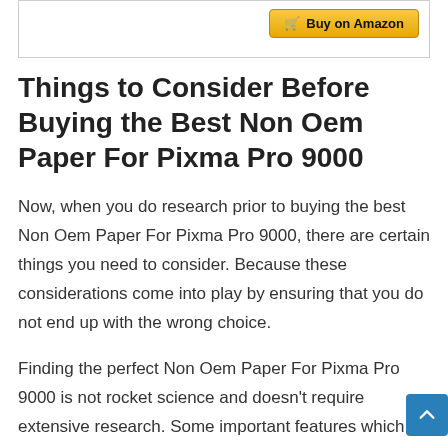[Figure (screenshot): Top portion of a bordered box with a 'Buy on Amazon' button with cart icon, golden/yellow background button style]
Things to Consider Before Buying the Best Non Oem Paper For Pixma Pro 9000
Now, when you do research prior to buying the best Non Oem Paper For Pixma Pro 9000, there are certain things you need to consider. Because these considerations come into play by ensuring that you do not end up with the wrong choice.
Finding the perfect Non Oem Paper For Pixma Pro 9000 is not rocket science and doesn't require extensive research. Some important features which